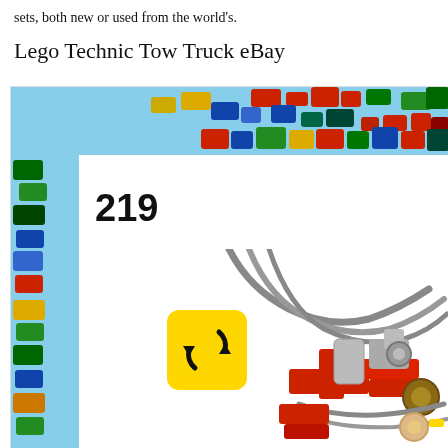sets, both new or used from the world's.
Lego Technic Tow Truck eBay
[Figure (photo): A LEGO Technic building instruction page showing step 219. The background has colorful LEGO bricks arranged around the top and left sides. The main white area shows the number 219 in bold, a yellow rounded-square refresh/rotate icon with circular arrows, and LEGO Technic mechanical parts (red frame pieces, gray tubes/cables, and detailed mechanical components) in the lower right.]